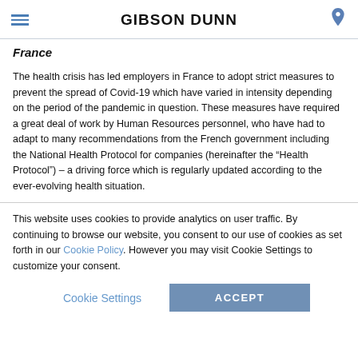GIBSON DUNN
France
The health crisis has led employers in France to adopt strict measures to prevent the spread of Covid-19 which have varied in intensity depending on the period of the pandemic in question. These measures have required a great deal of work by Human Resources personnel, who have had to adapt to many recommendations from the French government including the National Health Protocol for companies (hereinafter the “Health Protocol”) – a driving force which is regularly updated according to the ever-evolving health situation.
This website uses cookies to provide analytics on user traffic. By continuing to browse our website, you consent to our use of cookies as set forth in our Cookie Policy. However you may visit Cookie Settings to customize your consent.